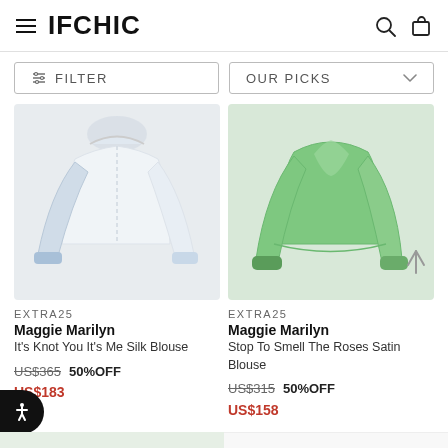IFCHIC
FILTER
OUR PICKS
[Figure (photo): White/light blue long-sleeve silk blouse displayed on a light grey background]
[Figure (photo): Mint green satin long-sleeve blouse displayed on a light grey-green background]
EXTRA25
Maggie Marilyn
It's Knot You It's Me Silk Blouse
US$365   50% OFF
US$183
EXTRA25
Maggie Marilyn
Stop To Smell The Roses Satin Blouse
US$315   50% OFF
US$158